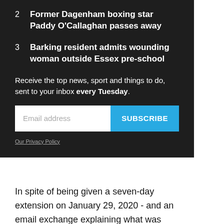2 Former Dagenham boxing star Paddy O'Callaghan passes away
3 Barking resident admits wounding woman outside Essex pre-school
Receive the top news, sport and things to do, sent to your inbox every Tuesday.
Email address SUBSCRIBE Our Privacy Policy
In spite of being given a seven-day extension on January 29, 2020 - and an email exchange explaining what was needed - Mr Choudhury did not provide the